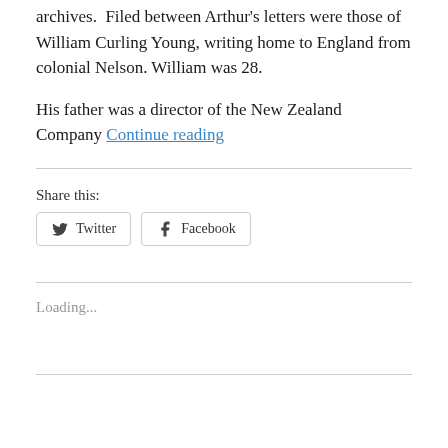archives.  Filed between Arthur’s letters were those of William Curling Young, writing home to England from colonial Nelson. William was 28.
His father was a director of the New Zealand Company Continue reading
Share this:
Twitter   Facebook
Loading...